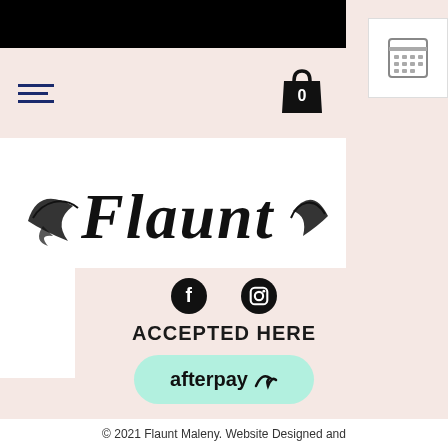[Figure (logo): Flaunt Maleny decorative script logo with flourishes and social media icons]
MALENY
[Figure (illustration): Social media icons - Facebook and Instagram circles, partially visible]
ACCEPTED HERE
[Figure (logo): Afterpay logo button with rounded mint green background]
© 2021 Flaunt Maleny. Website Designed and